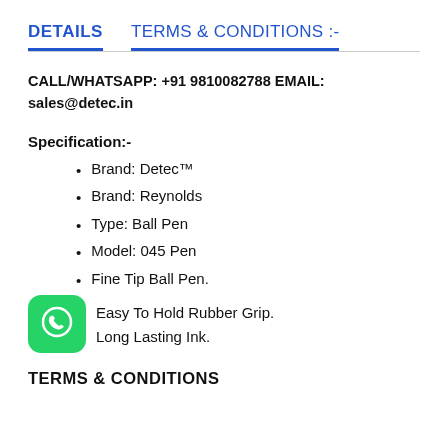DETAILS   TERMS & CONDITIONS :-
CALL/WHATSAPP: +91 9810082788 EMAIL: sales@detec.in
Specification:-
Brand: Detec™
Brand: Reynolds
Type: Ball Pen
Model: 045 Pen
Fine Tip Ball Pen.
Easy To Hold Rubber Grip.
Long Lasting Ink.
TERMS & CONDITIONS